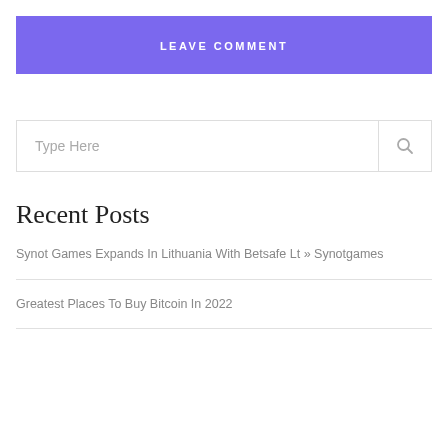LEAVE COMMENT
Type Here
Recent Posts
Synot Games Expands In Lithuania With Betsafe Lt » Synotgames
Greatest Places To Buy Bitcoin In 2022